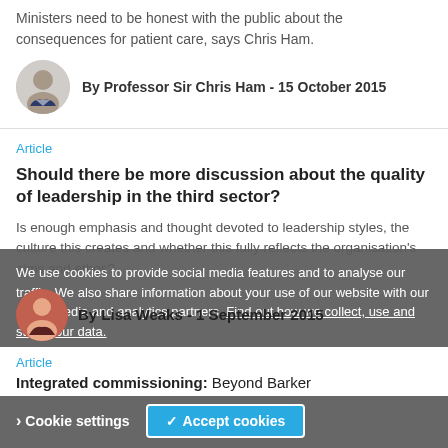Ministers need to be honest with the public about the consequences for patient care, says Chris Ham.
By Professor Sir Chris Ham - 15 October 2015
Article
Should there be more discussion about the quality of leadership in the third sector?
Is enough emphasis and thought devoted to leadership styles, the culture this creates and whether this fully reflects the organisation's aims and ethos?
By Lisa Weaks - 1 September 2015
We use cookies to provide social media features and to analyse our traffic. We also share information about your use of our website with our social media and analytics partners. Find out how we collect, use and store your data.
Article
Integrated commissioning: Beyond Barker